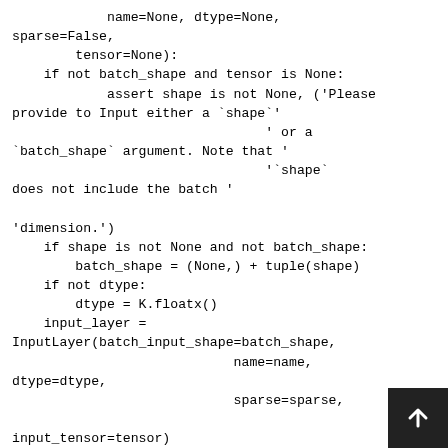name=None, dtype=None,
sparse=False,
        tensor=None):
    if not batch_shape and tensor is None:
            assert shape is not None, ('Please
provide to Input either a `shape`'
                                ' or a
`batch_shape` argument. Note that '
                                '`shape`
does not include the batch '

'dimension.')
    if shape is not None and not batch_shape:
        batch_shape = (None,) + tuple(shape)
    if not dtype:
        dtype = K.floatx()
    input_layer =
InputLayer(batch_input_shape=batch_shape,
                            name=name,
dtype=dtype,
                            sparse=sparse,

input_tensor=tensor)